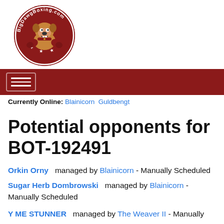[Figure (logo): BigDawgBoxing.com logo — circular badge with bulldog boxer illustration and red border]
Navigation bar with hamburger menu button
Currently Online: Blainicorn  Guldbengt
Potential opponents for BOT-192491
Orkin Orny   managed by Blainicorn - Manually Scheduled
Sugar Herb Dombrowski   managed by Blainicorn - Manually Scheduled
Y ME STUNNER   managed by The Weaver II - Manually